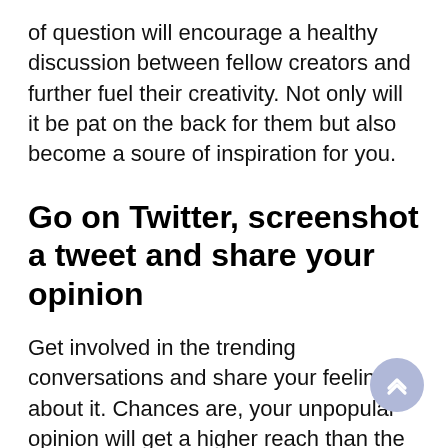of question will encourage a healthy discussion between fellow creators and further fuel their creativity. Not only will it be pat on the back for them but also become a soure of inspiration for you.
Go on Twitter, screenshot a tweet and share your opinion
Get involved in the trending conversations and share your feelings about it. Chances are, your unpopular opinion will get a higher reach than the original tweet.
Still in search for more ideas? We've got you.